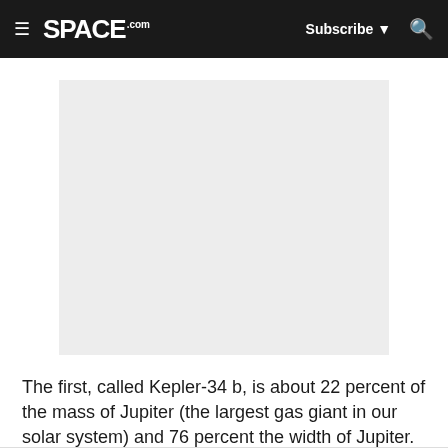≡ SPACE.com  Subscribe ▼ 🔍
[Figure (photo): Gray placeholder image area for an article illustration related to Kepler-34 b exoplanet]
The first, called Kepler-34 b, is about 22 percent of the mass of Jupiter (the largest gas giant in our solar system) and 76 percent the width of Jupiter. Kepler-34